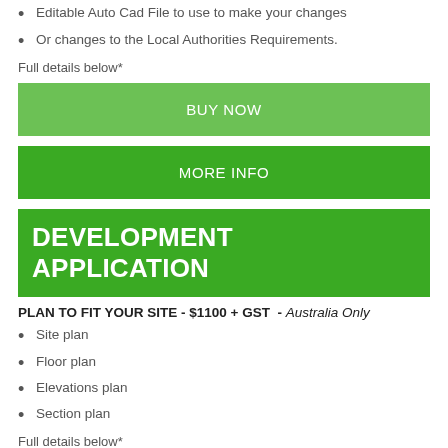Editable Auto Cad File to use to make your changes
Or changes to the Local Authorities Requirements.
Full details below*
BUY NOW
MORE INFO
DEVELOPMENT APPLICATION
PLAN TO FIT YOUR SITE - $1100 + GST - Australia Only
Site plan
Floor plan
Elevations plan
Section plan
Full details below*